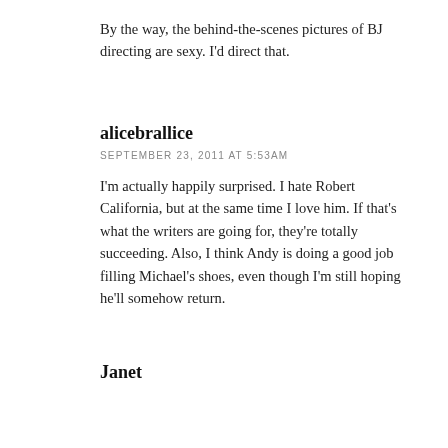By the way, the behind-the-scenes pictures of BJ directing are sexy. I'd direct that.
alicebrallice
SEPTEMBER 23, 2011 AT 5:53AM
I'm actually happily surprised. I hate Robert California, but at the same time I love him. If that's what the writers are going for, they're totally succeeding. Also, I think Andy is doing a good job filling Michael's shoes, even though I'm still hoping he'll somehow return.
Janet